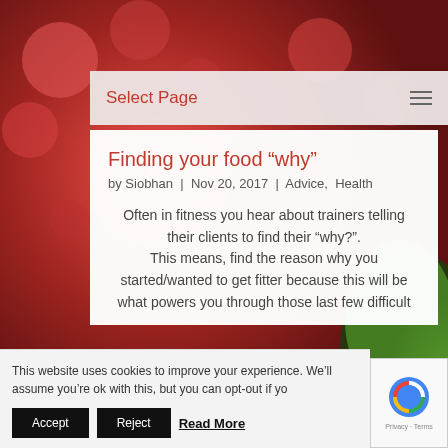[Figure (photo): Background photo of red raspberries and a green apple/fruit, colorful close-up]
Select Page
Finding your food “why”
by Siobhan | Nov 20, 2017 | Advice, Health
Often in fitness you hear about trainers telling their clients to find their “why?”. This means, find the reason why you started/wanted to get fitter because this will be what powers you through those last few difficult
This website uses cookies to improve your experience. We’ll assume you’re ok with this, but you can opt-out if yo
Accept   Reject   Read More